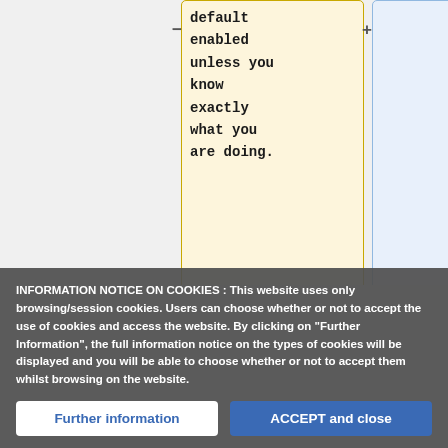[Figure (screenshot): Wiki diff editor showing two panels side by side. Left panel (yellow/beige background) shows code text: 'default enabled unless you know exactly what you are doing.' Right panel (light blue background) is empty. Below are two more panels: left has yellow background with code '{| style="float: right; margin:' and right panel in blue shows '[[Image:icub-binaries1.png|300px]]'. Minus and plus controls appear between panels.]
INFORMATION NOTICE ON COOKIES : This website uses only browsing/session cookies. Users can choose whether or not to accept the use of cookies and access the website. By clicking on "Further Information", the full information notice on the types of cookies will be displayed and you will be able to choose whether or not to accept them whilst browsing on the website.